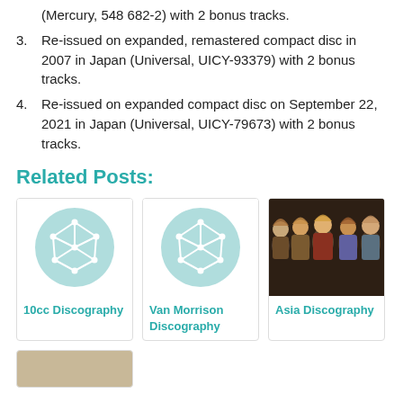(Mercury, 548 682-2) with 2 bonus tracks.
3. Re-issued on expanded, remastered compact disc in 2007 in Japan (Universal, UICY-93379) with 2 bonus tracks.
4. Re-issued on expanded compact disc on September 22, 2021 in Japan (Universal, UICY-79673) with 2 bonus tracks.
Related Posts:
[Figure (illustration): 10cc Discography placeholder icon — teal circle with white network/graph icon]
10cc Discography
[Figure (illustration): Van Morrison Discography placeholder icon — teal circle with white network/graph icon]
Van Morrison Discography
[Figure (photo): Asia band photo — group of musicians posing together]
Asia Discography